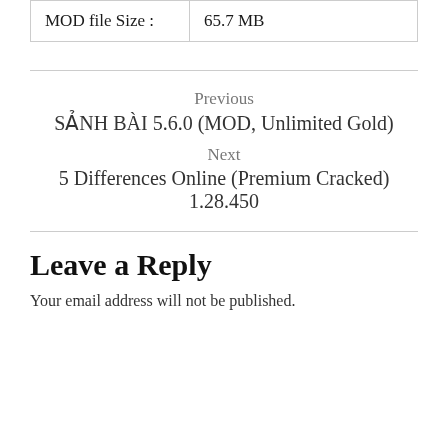| MOD file Size : | 65.7 MB |
Previous
SẢNH BÀI 5.6.0 (MOD, Unlimited Gold)
Next
5 Differences Online (Premium Cracked) 1.28.450
Leave a Reply
Your email address will not be published.